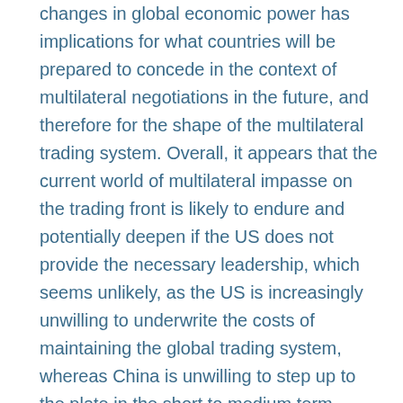changes in global economic power has implications for what countries will be prepared to concede in the context of multilateral negotiations in the future, and therefore for the shape of the multilateral trading system. Overall, it appears that the current world of multilateral impasse on the trading front is likely to endure and potentially deepen if the US does not provide the necessary leadership, which seems unlikely, as the US is increasingly unwilling to underwrite the costs of maintaining the global trading system, whereas China is unwilling to step up to the plate in the short to medium term. Therefore, the future of the WTO's negotiating mechanism lies in plurilateral agreements negotiated under its auspices and subject to a 'code of conduct' agreed to by the broader membership. These and the proliferation of trade-related discussions in other multilateral forums mean that the negotiating capacities of all countries will be increasingly stretched. Since South Africa in particular is viewed, and to some